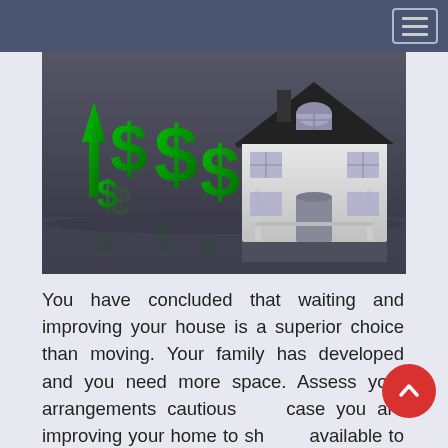[Figure (photo): 3D illustration of green dollar signs and an upward green arrow next to a grey/white model house, suggesting real estate value appreciation]
You have concluded that waiting and improving your house is a superior choice than moving. Your family has developed and you need more space. Assess your arrangements cautiously in case you are improving your home to show it available to be purchased. Compromising may hurt your possibilities as opposed to helping